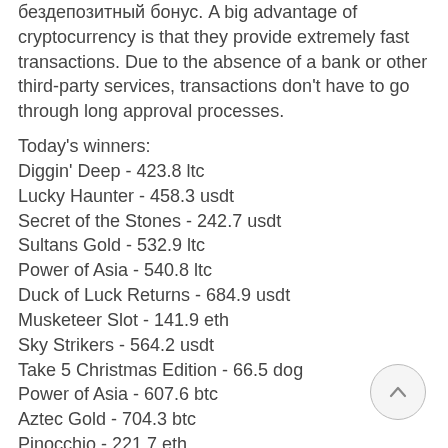бездепозитный бонус. A big advantage of cryptocurrency is that they provide extremely fast transactions. Due to the absence of a bank or other third-party services, transactions don't have to go through long approval processes.
Today's winners:
Diggin' Deep - 423.8 ltc
Lucky Haunter - 458.3 usdt
Secret of the Stones - 242.7 usdt
Sultans Gold - 532.9 ltc
Power of Asia - 540.8 ltc
Duck of Luck Returns - 684.9 usdt
Musketeer Slot - 141.9 eth
Sky Strikers - 564.2 usdt
Take 5 Christmas Edition - 66.5 dog
Power of Asia - 607.6 btc
Aztec Gold - 704.3 btc
Pinocchio - 221.7 eth
Book of Crazy Chicken Golden Nights - 254.6 dog